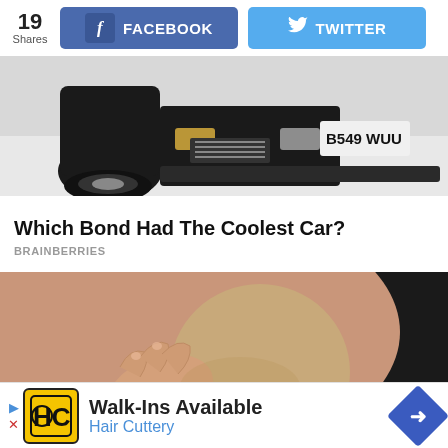[Figure (screenshot): Top navigation bar with share count '19 Shares', Facebook button (blue), and Twitter button (light blue)]
[Figure (photo): Close-up photo of a black car's front bumper showing license plate 'B549 WUU' on a white/grey background]
Which Bond Had The Coolest Car?
BRAINBERRIES
[Figure (photo): Close-up photo of a hand touching or holding a circular tan/beige object against a dark background, with 'infolinks' badge in lower left and close 'x' button]
[Figure (other): Advertisement for Hair Cuttery: Walk-Ins Available. Shows HC logo on yellow background, text 'Walk-Ins Available' and 'Hair Cuttery' in blue, with blue diamond navigation arrow on right. Left side has a small play arrow and X button.]